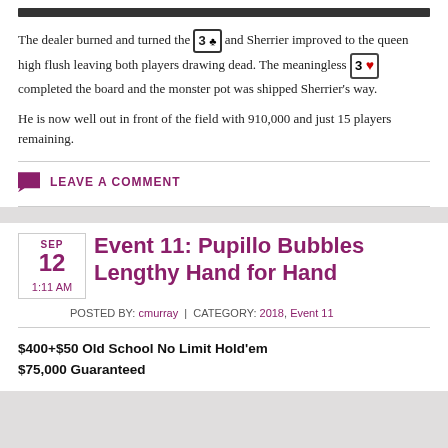[Figure (photo): Dark banner image at top of article section]
The dealer burned and turned the 3♣ and Sherrier improved to the queen high flush leaving both players drawing dead. The meaningless 3♥ completed the board and the monster pot was shipped Sherrier's way.
He is now well out in front of the field with 910,000 and just 15 players remaining.
LEAVE A COMMENT
Event 11: Pupillo Bubbles Lengthy Hand for Hand
SEP 12 1:11 AM POSTED BY: cmurray | CATEGORY: 2018, Event 11
$400+$50 Old School No Limit Hold'em
$75,000 Guaranteed